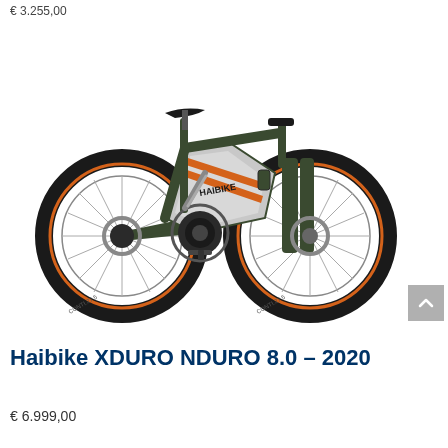€ 3.255,00
[Figure (photo): Haibike XDURO NDURO 8.0 2020 electric mountain bike in grey and dark green with orange accents, shown in profile view from the left side. Full suspension e-MTB with large knobby tires and integrated battery in the frame.]
Haibike XDURO NDURO 8.0 – 2020
€ 6.999,00